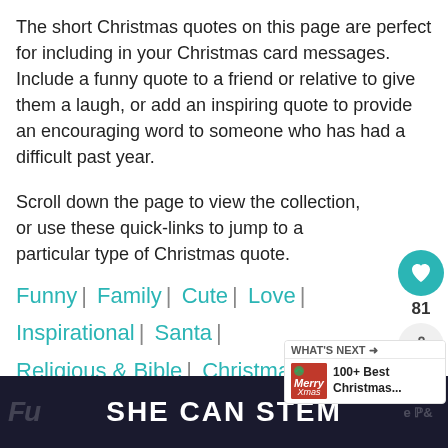The short Christmas quotes on this page are perfect for including in your Christmas card messages. Include a funny quote to a friend or relative to give them a laugh, or add an inspiring quote to provide an encouraging word to someone who has had a difficult past year.
Scroll down the page to view the collection, or use these quick-links to jump to a particular type of Christmas quote.
Funny | Family | Cute | Love | Inspirational | Santa | Religious & Bible | Christmas Season | C... Tree | Christmas Eve | Christmas Lights
[Figure (infographic): Floating heart save button (teal circle with heart icon) with count 81 below it, and a share button (grey circle with share icon)]
[Figure (infographic): What's Next promotional card with a Christmas image and text '100+ Best Christmas...']
[Figure (infographic): Dark banner advertisement at the bottom reading 'SHE CAN STEM' with partial text on left and right edges]